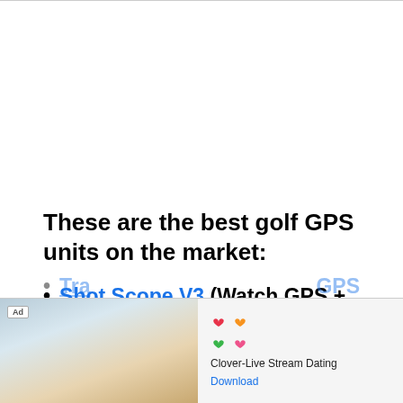These are the best golf GPS units on the market:
Shot Scope V3 (Watch GPS + Club Tra...
Ar... GPS
[Figure (screenshot): Mobile advertisement banner for Clover-Live Stream Dating app, showing a woman at a beach on the left side with an Ad badge, and the app icon (colorful clover heart shapes), app name 'Clover-Live Stream Dating', and a 'Download' link on the right side.]